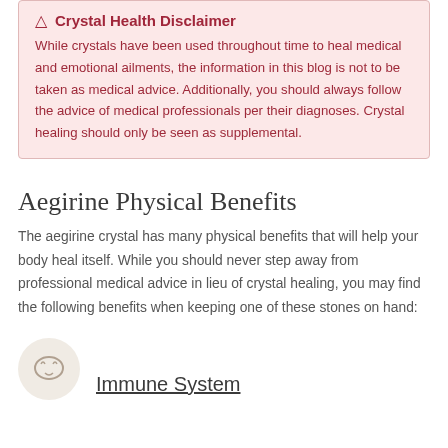Crystal Health Disclaimer
While crystals have been used throughout time to heal medical and emotional ailments, the information in this blog is not to be taken as medical advice. Additionally, you should always follow the advice of medical professionals per their diagnoses. Crystal healing should only be seen as supplemental.
Aegirine Physical Benefits
The aegirine crystal has many physical benefits that will help your body heal itself. While you should never step away from professional medical advice in lieu of crystal healing, you may find the following benefits when keeping one of these stones on hand:
Immune System